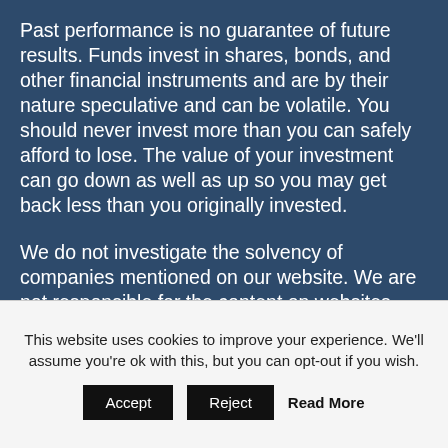Past performance is no guarantee of future results. Funds invest in shares, bonds, and other financial instruments and are by their nature speculative and can be volatile. You should never invest more than you can safely afford to lose. The value of your investment can go down as well as up so you may get back less than you originally invested.
We do not investigate the solvency of companies mentioned on our website. We are not responsible for the content on websites that we link to.
80-20 Investor tables and graphs are derived from
This website uses cookies to improve your experience. We'll assume you're ok with this, but you can opt-out if you wish.